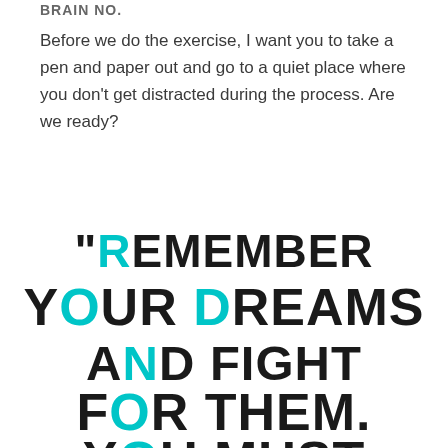BRAIN NO.
Before we do the exercise, I want you to take a pen and paper out and go to a quiet place where you don't get distracted during the process. Are we ready?
[Figure (infographic): Large bold typographic quote: “REMEMBER YOUR DREAMS AND FIGHT FOR THEM. YOU MUST" with selected letters highlighted in teal/cyan color (R in REMEMBER, O in YOUR, D in DREAMS, A in AND, D in FIGHT, O in FOR, O in YOU)]